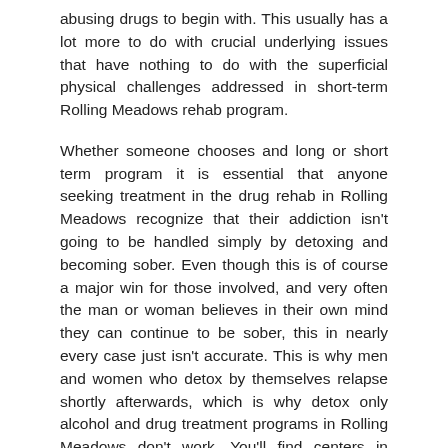abusing drugs to begin with. This usually has a lot more to do with crucial underlying issues that have nothing to do with the superficial physical challenges addressed in short-term Rolling Meadows rehab program.
Whether someone chooses and long or short term program it is essential that anyone seeking treatment in the drug rehab in Rolling Meadows recognize that their addiction isn't going to be handled simply by detoxing and becoming sober. Even though this is of course a major win for those involved, and very often the man or woman believes in their own mind they can continue to be sober, this in nearly every case just isn't accurate. This is why men and women who detox by themselves relapse shortly afterwards, which is why detox only alcohol and drug treatment programs in Rolling Meadows don't work. You'll find centers in Rolling Meadows whose only purpose is to provide detox solutions, and while this can be very helpful and beneficial regarding short term benefits and goals, people that obtain no further rehabilitation services inside a drug rehab in Rolling Meadows after detoxification fare just as well as those who obtained no rehab services at all, i.e. they relapse shortly after. Detoxification only facilities are a good place to begin, yet it's